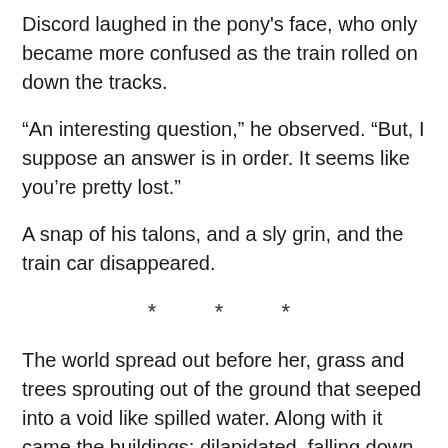Discord laughed in the pony's face, who only became more confused as the train rolled on down the tracks.
“An interesting question,” he observed. “But, I suppose an answer is in order. It seems like you’re pretty lost.”
A snap of his talons, and a sly grin, and the train car disappeared.
* * *
The world spread out before her, grass and trees sprouting out of the ground that seeped into a void like spilled water. Along with it came the buildings; dilapidated, falling down, destroyed and burning. Shouts of pain and anger resounded with magical bursts and the metallic clanking of swords.